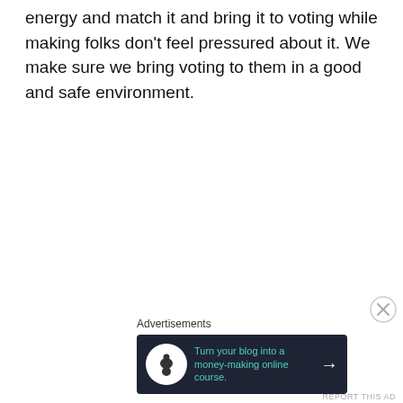energy and match it and bring it to voting while making folks don't feel pressured about it. We make sure we bring voting to them in a good and safe environment.
[Figure (other): Close/dismiss button (circled X) for advertisement]
Advertisements
[Figure (other): Advertisement banner with dark background: icon of person with tree, text 'Turn your blog into a money-making online course.' with arrow]